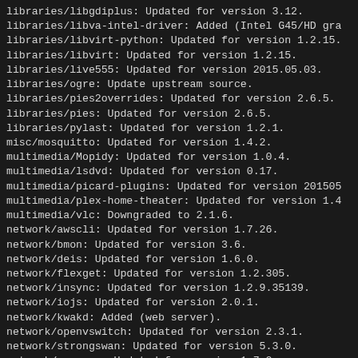libraries/libgdiplus: Updated for version 3.12.
libraries/libva-intel-driver: Added (Intel G45/HD gra
libraries/libvirt-python: Updated for version 1.2.15.
libraries/libvirt: Updated for version 1.2.15.
libraries/live555: Updated for version 2015.05.03.
libraries/ogre: Update upstream source.
libraries/pies2overrides: Updated for version 2.6.5.
libraries/pies: Updated for version 2.6.5.
libraries/pylast: Updated for version 1.2.1.
misc/mosquitto: Updated for version 1.4.2.
multimedia/Mopidy: Updated for version 1.0.4.
multimedia/lsdvd: Updated for version 0.17.
multimedia/picard-plugins: Updated for version 201505
multimedia/plex-home-theater: Updated for version 1.4
multimedia/vlc: Downgraded to 2.1.6.
network/awscli: Updated for version 1.7.26.
network/bmon: Updated for version 3.6.
network/deis: Updated for version 1.6.0.
network/flexget: Updated for version 1.2.305.
network/insync: Updated for version 1.2.9.35139.
network/iojs: Updated for version 2.0.1.
network/kwakd: Added (web server).
network/openvswitch: Updated for version 2.3.1.
network/strongswan: Updated for version 5.3.0.
network/synergy: Updated for version 1.7.2.
network/tor: Updated for version 0.2.5.12.
network/transmission: Fix slack-desc.
network/vivaldi: Updated for version 1.0.167.2_1.
network/youtube-dl: Updated for version 2015.05.03.
office/libreoffice-helppack: Updated for version 4.4